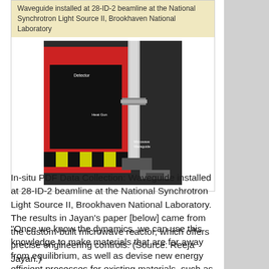[Figure (photo): Photo of a microwave waveguide reactor installed at 28-ID-2 beamline at the National Synchrotron Light Source II, Brookhaven National Laboratory. Shows a red machine with a cylindrical waveguide component and a black panel labeled 'Detector', with 'Heat Gun' and 'Microwave Waveguide' labels visible.]
In-situ PDF Data Collection: Waveguide installed at 28-ID-2 beamline at the National Synchrotron Light Source II, Brookhaven National Laboratory. The results in Jayan's paper [below] came from the custom-built microwave reactor, which offers precise engineering controls. (Source: Reeja Jayan.)
“Once we know the dynamics, we can use this knowledge to make materials that are far away from equilibrium, as well as devise new energy efficient processes for existing materials, such as 3D printing of ceramics,” she says. The